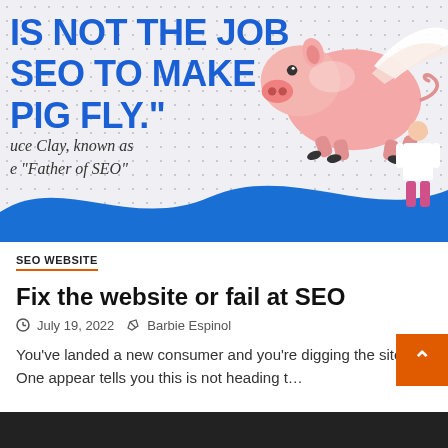[Figure (illustration): Infographic banner with blue bold text reading 'IS NOT THE JOB SEO TO MAKE PIG FLY.' with a flying pig illustration on dotted background and attribution text 'uce Clay, known as e "Father of SEO"' and a blue wave at the bottom with a person figure.]
SEO WEBSITE
Fix the website or fail at SEO
July 19, 2022  Barbie Espinol
You've landed a new consumer and you're digging the site. One appear tells you this is not heading t…